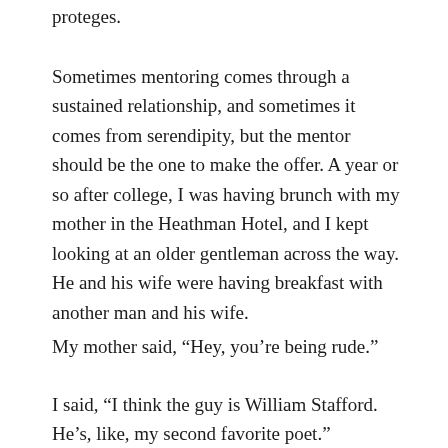proteges.
Sometimes mentoring comes through a sustained relationship, and sometimes it comes from serendipity, but the mentor should be the one to make the offer. A year or so after college, I was having brunch with my mother in the Heathman Hotel, and I kept looking at an older gentleman across the way. He and his wife were having breakfast with another man and his wife.
My mother said, “Hey, you’re being rude.”
I said, “I think the guy is William Stafford. He’s, like, my second favorite poet.”